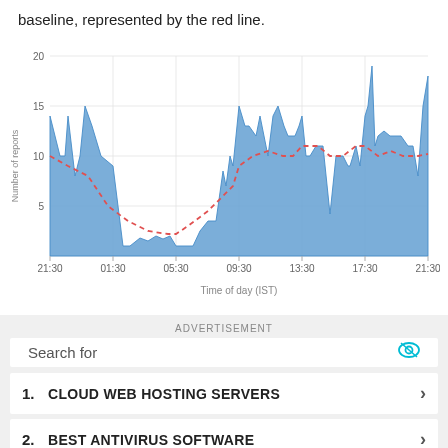baseline, represented by the red line.
[Figure (area-chart): Area chart showing number of reports over time of day (IST) from 21:30 to 21:30, with a blue filled area and a red dashed baseline line. Y-axis ranges from 0 to 20.]
ADVERTISEMENT
Search for
1. CLOUD WEB HOSTING SERVERS
2. BEST ANTIVIRUS SOFTWARE
3. BEST CODING COURSES ONLINE